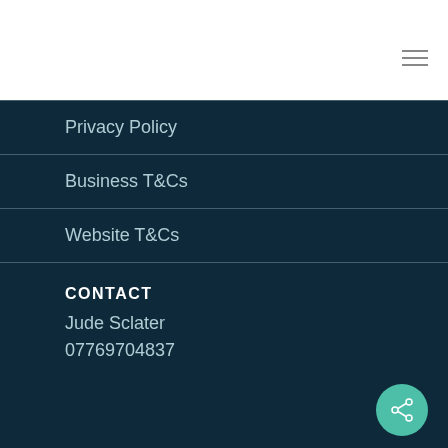[Figure (other): Hamburger menu icon (three horizontal lines) in top-right corner of white header bar]
Privacy Policy
Business T&Cs
Website T&Cs
CONTACT
Jude Sclater
07769704837
[Figure (other): Teal circular share/network icon button in bottom-right area]